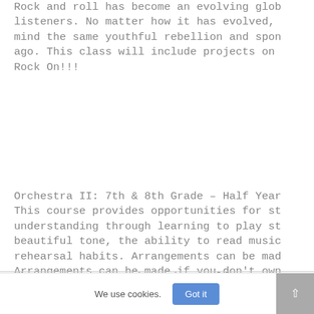Rock and roll has become an evolving glob listeners. No matter how it has evolved, mind the same youthful rebellion and spon ago. This class will include projects on Rock On!!!
Orchestra II: 7th & 8th Grade – Half Year This course provides opportunities for st understanding through learning to play st beautiful tone, the ability to read music rehearsal habits. Arrangements can be mad Arrangements can be made if you don't own year.
Theatre I: 7th & 8th Grade – Half Year
We use cookies.